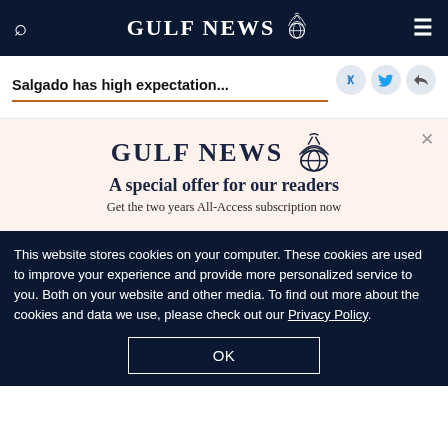GULF NEWS
Salgado has high expectation...
[Figure (logo): Gulf News eagle logo]
A special offer for our readers
Get the two years All-Access subscription now
This website stores cookies on your computer. These cookies are used to improve your experience and provide more personalized service to you. Both on your website and other media. To find out more about the cookies and data we use, please check out our Privacy Policy.
OK